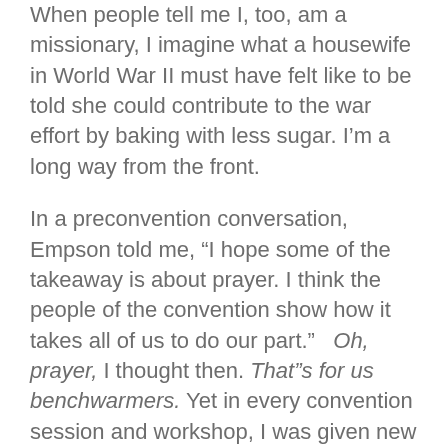When people tell me I, too, am a missionary, I imagine what a housewife in World War II must have felt like to be told she could contribute to the war effort by baking with less sugar. I’m a long way from the front.
In a preconvention conversation, Empson told me, “I hope some of the takeaway is about prayer. I think the people of the convention show how it takes all of us to do our part.”   Oh, prayer, I thought then. That”s for us benchwarmers. Yet in every convention session and workshop, I was given new ways to think about prayer””not as a tool for accomplishing my goals, but as the way to seek God”s direction and unveil his character.
I gained some practical knowledge, too. One of